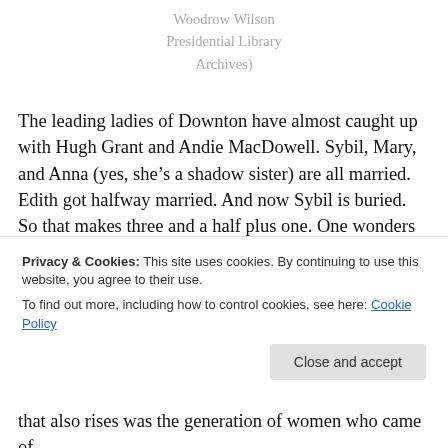Woodrow Wilson Presidential Library Archives)
The leading ladies of Downton have almost caught up with Hugh Grant and Andie MacDowell. Sybil, Mary, and Anna (yes, she’s a shadow sister) are all married. Edith got halfway married. And now Sybil is buried. So that makes three and a half plus one. One wonders of course whether the other half will be the forthcoming happy ending of season three, but since there’s only a little over a week to
Privacy & Cookies: This site uses cookies. By continuing to use this website, you agree to their use.
To find out more, including how to control cookies, see here: Cookie Policy
that also rises was the generation of women who came of